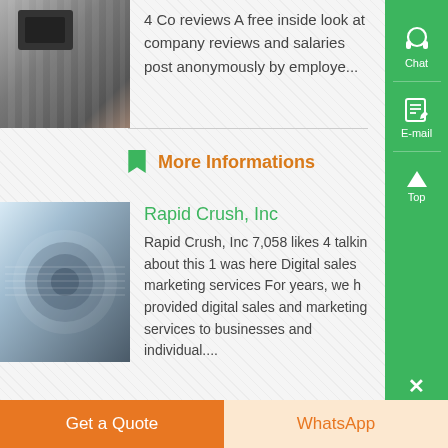[Figure (photo): Industrial metal product photo - corrugated metal panels or machine with ridged surface]
4 Co reviews A free inside look at company reviews and salaries post anonymously by employe...
More Informations
[Figure (photo): Close-up of industrial rolls of metal wire or coiled material, bluish-grey tones]
Rapid Crush, Inc
Rapid Crush, Inc 7,058 likes 4 talking about this 1 was here Digital sales marketing services For years, we h provided digital sales and marketing services to businesses and individual....
Get a Quote
WhatsApp